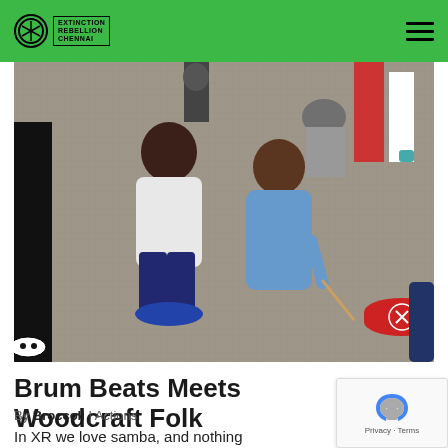Extinction Rebellion Chennai
[Figure (photo): Children sitting on a carpeted floor viewed from behind, one in a white t-shirt and one in a blue hoodie holding a drumstick. A red drum with an Extinction Rebellion hourglass symbol is visible on the right. Adults stand in the background.]
Brum Beats Meets Woodcraft Folk
By Broccoli | Actions
In XR we love samba, and nothing